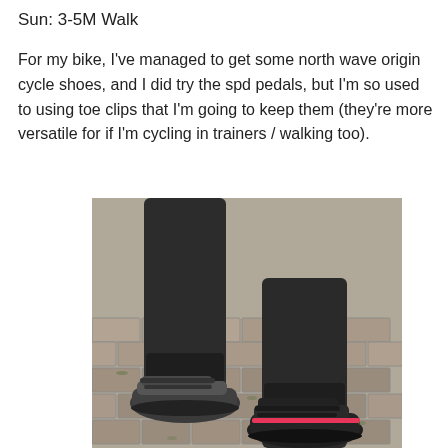Sun: 3-5M Walk
For my bike, I've managed to get some north wave origin cycle shoes, and I did try the spd pedals, but I'm so used to using toe clips that I'm going to keep them (they're more versatile for if I'm cycling in trainers / walking too).
[Figure (photo): Close-up photo of a person's legs wearing black cycling tights and two different cycling shoes — one grey/black shoe (left leg) and one black shoe with pink accents (right leg) — standing on a herringbone brick/cobblestone path.]